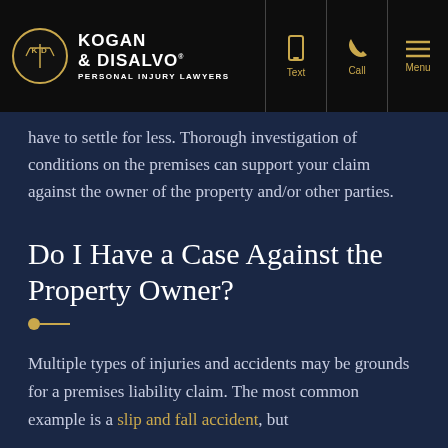Kogan & DiSalvo Personal Injury Lawyers — Text | Call | Menu
have to settle for less. Thorough investigation of conditions on the premises can support your claim against the owner of the property and/or other parties.
Do I Have a Case Against the Property Owner?
Multiple types of injuries and accidents may be grounds for a premises liability claim. The most common example is a slip and fall accident, but